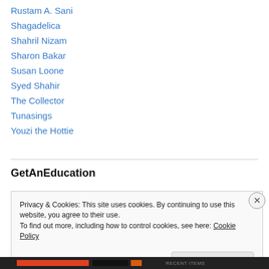Rustam A. Sani
Shagadelica
Shahril Nizam
Sharon Bakar
Susan Loone
Syed Shahir
The Collector
Tunasings
Youzi the Hottie
GetAnEducation
Privacy & Cookies: This site uses cookies. By continuing to use this website, you agree to their use.
To find out more, including how to control cookies, see here: Cookie Policy
Close and accept